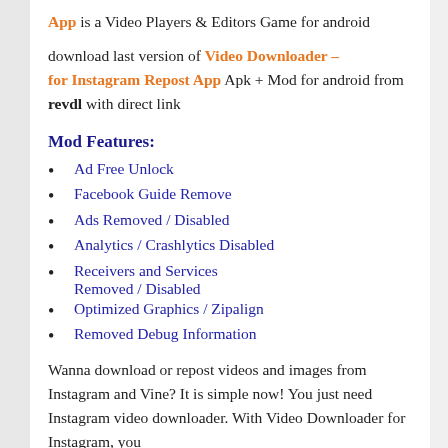App is a Video Players & Editors Game for android
download last version of Video Downloader – for Instagram Repost App Apk + Mod for android from revdl with direct link
Mod Features:
Ad Free Unlock
Facebook Guide Remove
Ads Removed / Disabled
Analytics / Crashlytics Disabled
Receivers and Services Removed / Disabled
Optimized Graphics / Zipalign
Removed Debug Information
Wanna download or repost videos and images from Instagram and Vine? It is simple now! You just need Instagram video downloader. With Video Downloader for Instagram, you